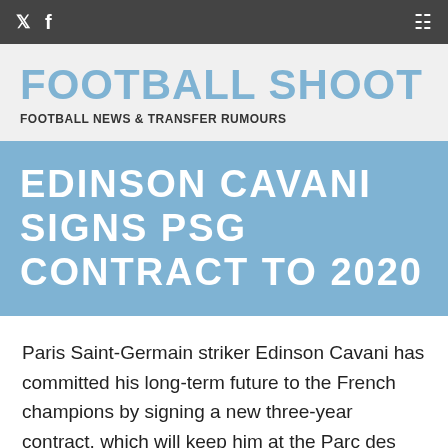Twitter | Facebook | Grid menu
FOOTBALL SHOOT
FOOTBALL NEWS & TRANSFER RUMOURS
EDINSON CAVANI SIGNS PSG CONTRACT TO 2020
Paris Saint-Germain striker Edinson Cavani has committed his long-term future to the French champions by signing a new three-year contract, which will keep him at the Parc des Princes until 2020.